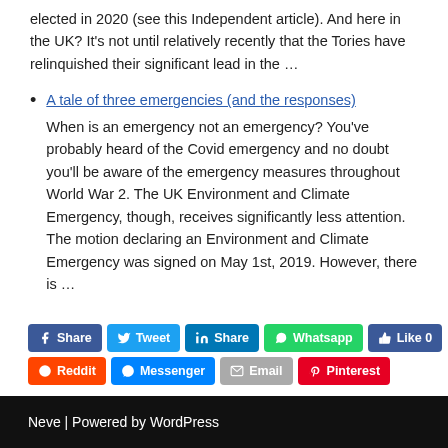elected in 2020 (see this Independent article). And here in the UK? It's not until relatively recently that the Tories have relinquished their significant lead in the …
A tale of three emergencies (and the responses)
When is an emergency not an emergency? You've probably heard of the Covid emergency and no doubt you'll be aware of the emergency measures throughout World War 2. The UK Environment and Climate Emergency, though, receives significantly less attention. The motion declaring an Environment and Climate Emergency was signed on May 1st, 2019. However, there is …
[Figure (infographic): Social share buttons: Share (Facebook), Tweet, Share (LinkedIn), Whatsapp, Like 0, Reddit, Messenger, Email, Pinterest]
Neve | Powered by WordPress